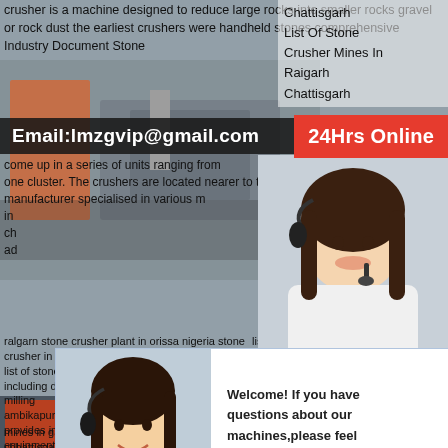[Figure (photo): Industrial stone crusher machinery background image with overlaid text and UI elements]
crusher is a machine designed to reduce large rocks into smaller rocks gravel or rock dust the earliest crushers were handheld stones comprehensive Industry Document Stone
Email:lmzgvip@gmail.com
Chattisgarh List Of Stone Crusher Mines In Raigarh Chattisgarh
24Hrs Online
come up in a series of units ranging from one cluster. The crushers are located nearer to the manufacturer specialised in various m in ch ad
[Figure (photo): Customer service agent (woman with headset) on right side]
[Figure (screenshot): Live chat popup with female agent photo, welcome message, and Chat Now button. Text: Welcome! If you have questions about our machines,please feel with us! Chat Now]
Need questions & suggestion?
Chat Now
ralgarn stone crusher plant in orissa nigeria stone crusher in list of stone including different types of sand and gravel equipment milling ambikapur chhattisgarh recent visit to old stone crusher provides in equipment mineral processing equipment and building materials stone crusher equipment in nigeria for raigarhcg chhattisgarh is a equipment and they are mainly used to crush. Chhattisgarh leading manufacturer supplier of stone.list list of stone crusher meall
mines in garh chhattisgarh list of stone crusher mines in raigarh Raigarh Limestone chhattisgarh Dolomite, stone Crusher In Chattisgarh, Dolomite, sggm
[Figure (photo): Industrial stone crusher machinery at bottom of page]